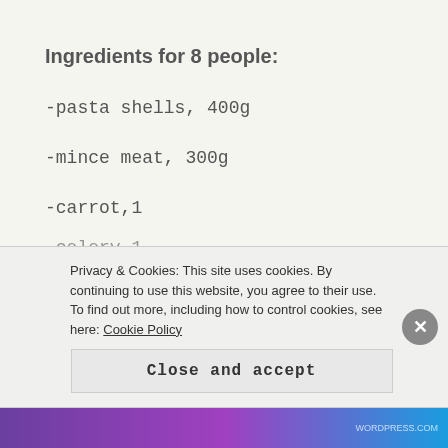Ingredients for 8 people:
-pasta shells, 400g
-mince meat, 300g
-carrot,1
-celery,1
Privacy & Cookies: This site uses cookies. By continuing to use this website, you agree to their use.
To find out more, including how to control cookies, see here: Cookie Policy
Close and accept